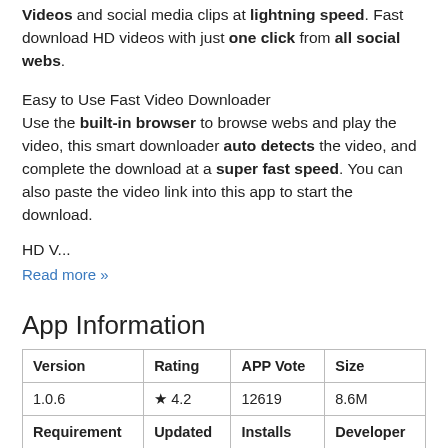Videos and social media clips at lightning speed. Fast download HD videos with just one click from all social webs.
Easy to Use Fast Video Downloader
Use the built-in browser to browse webs and play the video, this smart downloader auto detects the video, and complete the download at a super fast speed. You can also paste the video link into this app to start the download.
HD V...
Read more »
App Information
| Version | Rating | APP Vote | Size |
| --- | --- | --- | --- |
| 1.0.6 | ★ 4.2 | 12619 | 8.6M |
| Requirement | Updated | Installs | Developer |
|  |  |  |  |